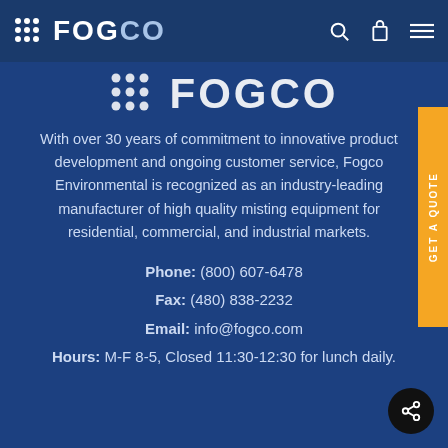FOGCO
[Figure (logo): FOGCO logo with dot-grid icon, large centered version on blue background]
With over 30 years of commitment to innovative product development and ongoing customer service, Fogco Environmental is recognized as an industry-leading manufacturer of high quality misting equipment for residential, commercial, and industrial markets.
Phone: (800) 607-6478
Fax: (480) 838-2232
Email: info@fogco.com
Hours: M-F 8-5, Closed 11:30-12:30 for lunch daily.